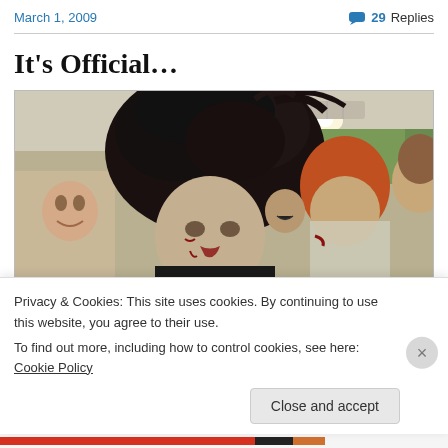March 1, 2009   💬 29 Replies
It's Official…
[Figure (photo): People dressed as zombies in a shopping mall or retail store, with messy hair, zombie makeup and fake blood, taken indoors with ceiling lights visible.]
Privacy & Cookies: This site uses cookies. By continuing to use this website, you agree to their use.
To find out more, including how to control cookies, see here: Cookie Policy
Close and accept